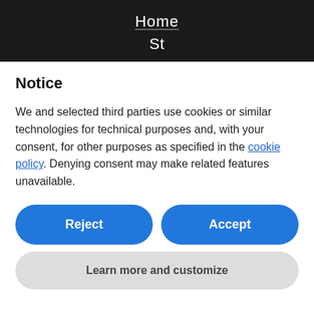Home
Notice
We and selected third parties use cookies or similar technologies for technical purposes and, with your consent, for other purposes as specified in the cookie policy. Denying consent may make related features unavailable.
Reject
Accept
Learn more and customize